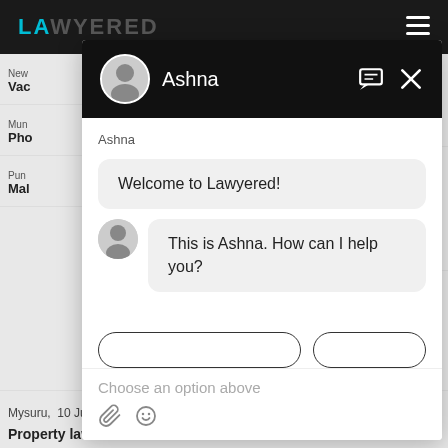[Figure (screenshot): Screenshot of Lawyered website with a chat widget overlay. The chat widget shows an agent named Ashna with avatar, chat messages 'Welcome to Lawyered!' and 'This is Ashna. How can I help you?', option buttons, a 'Choose an option above' input placeholder, and attachment/emoji icons. The background shows the Lawyered logo in teal and partial website content rows.]